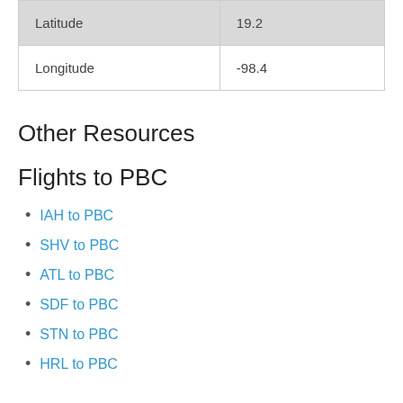| Latitude | 19.2 |
| Longitude | -98.4 |
Other Resources
Flights to PBC
IAH to PBC
SHV to PBC
ATL to PBC
SDF to PBC
STN to PBC
HRL to PBC